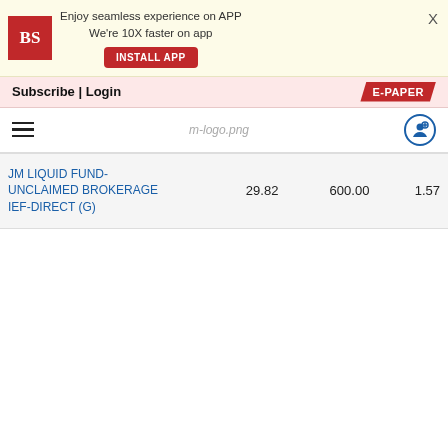[Figure (screenshot): App install banner with BS logo, text 'Enjoy seamless experience on APP We're 10X faster on app', INSTALL APP button, and X close button]
Subscribe | Login
E-PAPER
[Figure (logo): Hamburger menu icon, m-logo.png placeholder, and user/add icon]
| JM LIQUID FUND- UNCLAIMED BROKERAGE IEF-DIRECT (G) | 29.82 | 600.00 | 1.57 |